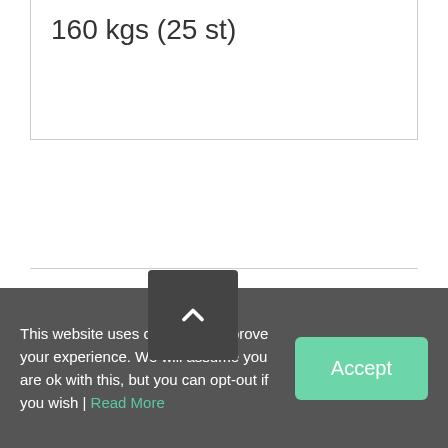| 160 kgs (25 st) |
Share On Facebook
Tweet This Product
Pin This Product
Email This Product
This website uses cookies to improve your experience. We will assume you are ok with this, but you can opt-out if you wish | Read More